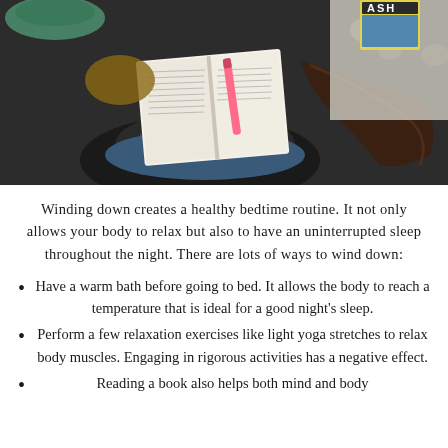[Figure (photo): Overhead/bird's-eye view photo of a person sitting cross-legged reading a book with a pink highlighter, surrounded by other books and a textured blanket.]
Winding down creates a healthy bedtime routine. It not only allows your body to relax but also to have an uninterrupted sleep throughout the night. There are lots of ways to wind down:
Have a warm bath before going to bed. It allows the body to reach a temperature that is ideal for a good night's sleep.
Perform a few relaxation exercises like light yoga stretches to relax body muscles. Engaging in rigorous activities has a negative effect.
Reading a book also helps both mind and body